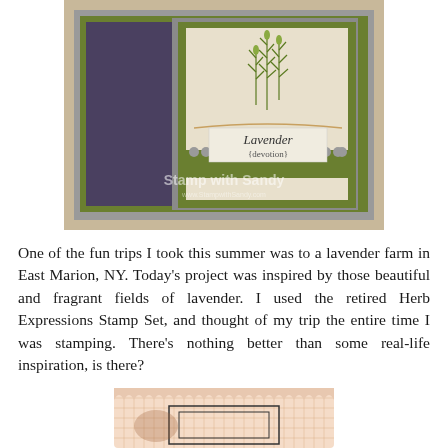[Figure (photo): A handmade greeting card featuring lavender herb stamping on cream/green layered cardstock with purple and green layers. The card shows 'Lavender {devotion}' text with a botanical herb illustration. Watermark reads 'Stamp with Sandy' and 'www.StampwithSandy.com'.]
One of the fun trips I took this summer was to a lavender farm in East Marion, NY. Today's project was inspired by those beautiful and fragrant fields of lavender. I used the retired Herb Expressions Stamp Set, and thought of my trip the entire time I was stamping. There's nothing better than some real-life inspiration, is there?
[Figure (photo): A stamp or die-cut tool shown on grid paper background with scalloped edges, partially visible at the bottom of the page.]